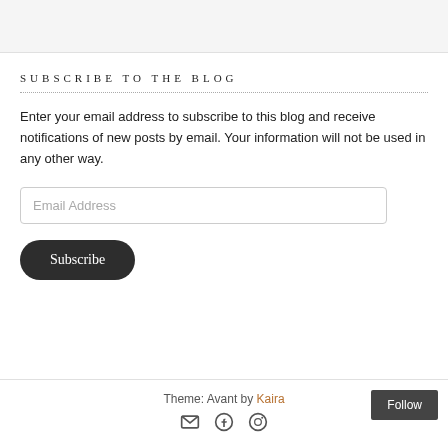SUBSCRIBE TO THE BLOG
Enter your email address to subscribe to this blog and receive notifications of new posts by email. Your information will not be used in any other way.
Theme: Avant by Kaira